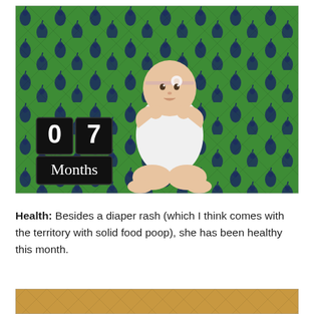[Figure (photo): A baby girl approximately 7 months old sitting cross-legged on a green quilted blanket with dark blue fruit pattern. She is wearing a white onesie and a white flower headband, with hands raised toward her mouth. To her left are black wooden number blocks showing '07' and 'Months'.]
Health: Besides a diaper rash (which I think comes with the territory with solid food poop), she has been healthy this month.
[Figure (photo): Partial view of another photo at the bottom of the page, appearing to show a warm-toned scene (possibly another baby photo).]